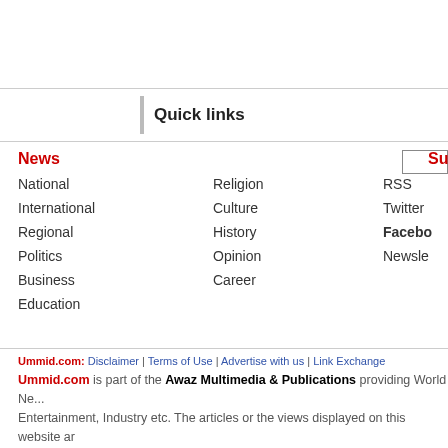[Figure (other): Top banner advertisement area (white space)]
Quick links
News
National
International
Regional
Politics
Business
Education
Religion
Culture
History
Opinion
Career
Subscribe
RSS
Twitter
Facebook
Newsletter
Ummid.com: Disclaimer | Terms of Use | Advertise with us | Link Exchange
Ummid.com is part of the Awaz Multimedia & Publications providing World News, Entertainment, Industry etc. The articles or the views displayed on this website are